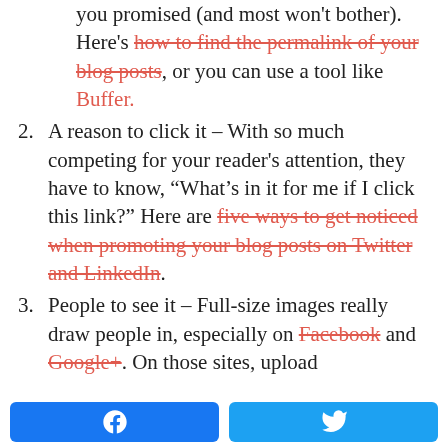(continuation) you promised (and most won't bother). Here's how to find the permalink of your blog posts, or you can use a tool like Buffer.
2. A reason to click it – With so much competing for your reader's attention, they have to know, "What's in it for me if I click this link?" Here are five ways to get noticed when promoting your blog posts on Twitter and LinkedIn.
3. People to see it – Full-size images really draw people in, especially on Facebook and Google+. On those sites, upload